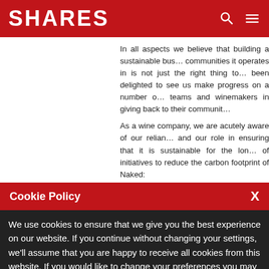SHARES
In all aspects we believe that building a sustainable business that gives back to the communities it operates in is not just the right thing to do. We have been delighted to see us make progress on a number of fronts with our teams and winemakers in giving back to their communities.
As a wine company, we are acutely aware of our reliance on the natural world and our role in ensuring that it is sustainable for the long term. A number of initiatives to reduce the carbon footprint of Naked:
We have saved 673 tonnes of CO₂ through the... Working directly with winemakers, we see the...
Cookie Policy
We use cookies to ensure that we give you the best experience on our website. If you continue without changing your settings, we'll assume that you are happy to receive all cookies from this website. If you would like to change your preferences you may do so by following the instructions here.